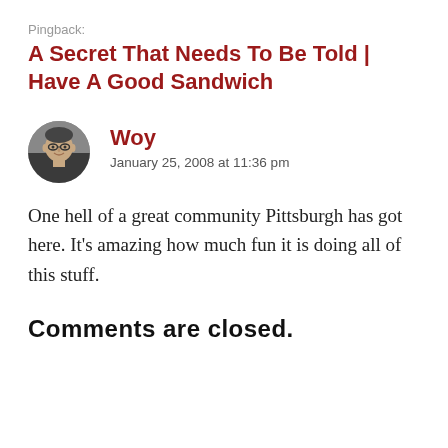Pingback:
A Secret That Needs To Be Told | Have A Good Sandwich
[Figure (photo): Circular avatar photo of a man with glasses, dark hair, smiling]
Woy
January 25, 2008 at 11:36 pm
One hell of a great community Pittsburgh has got here. It’s amazing how much fun it is doing all of this stuff.
Comments are closed.